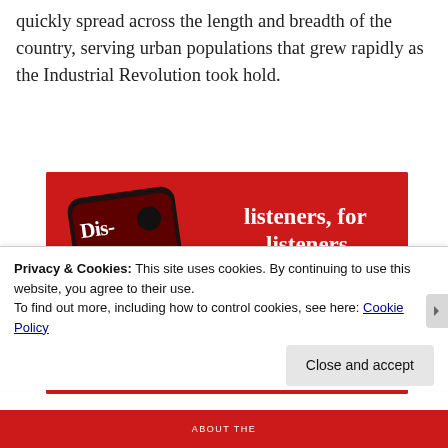quickly spread across the length and breadth of the country, serving urban populations that grew rapidly as the Industrial Revolution took hold.
[Figure (illustration): Advertisement banner with red background showing a smartphone displaying a podcast app with 'Dis-trib-uted' text on screen, alongside text 'listeners, for listeners.' and a 'Download now' button.]
Privacy & Cookies: This site uses cookies. By continuing to use this website, you agree to their use.
To find out more, including how to control cookies, see here: Cookie Policy
Close and accept